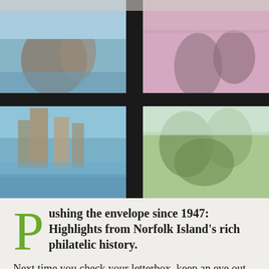[Figure (photo): Collage of colorful postage stamps from Norfolk Island arranged in a 2x2 grid with dark borders between them, showing maritime and nature imagery with blue skies, coral/pink tones, and green foliage.]
Pushing the envelope since 1947: Highlights from Norfolk Island's rich philatelic history.
Next time you check your letterbox, keep an eye out for a little piece of Norfolk Island's maritime story gracing the top corner of your envelope. The Norfolk Island Museum is proud to have two of our First Fleet ship models